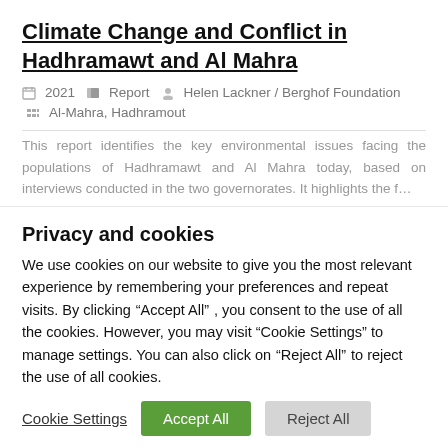Climate Change and Conflict in Hadhramawt and Al Mahra
2021   Report   Helen Lackner / Berghof Foundation   Al-Mahra, Hadhramout
This report identifies the key environmental issues facing the populations of Hadhramawt and Al Mahra today, based on interviews conducted in the two governorates. It highlights the f…
Privacy and cookies
We use cookies on our website to give you the most relevant experience by remembering your preferences and repeat visits. By clicking “Accept All” , you consent to the use of all the cookies. However, you may visit "Cookie Settings" to manage settings. You can also click on “Reject All”  to reject the use of all cookies.
Cookie Settings   Accept All   Reject All